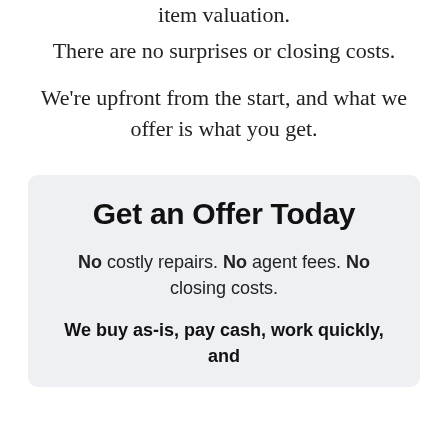item valuation.
There are no surprises or closing costs.
We're upfront from the start, and what we offer is what you get.
Get an Offer Today
No costly repairs. No agent fees. No closing costs.
We buy as-is, pay cash, work quickly, and